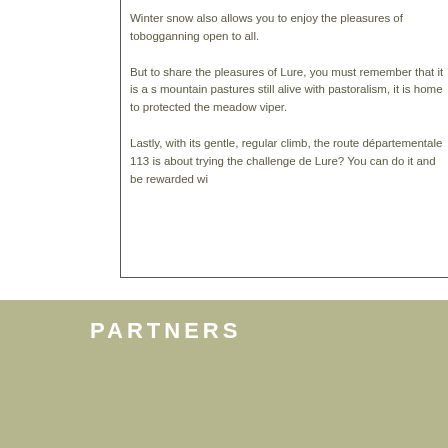Winter snow also allows you to enjoy the pleasures of tobogganing open to all.
But to share the pleasures of Lure, you must remember that it is a s mountain pastures still alive with pastoralism, it is home to protected the meadow viper.
Lastly, with its gentle, regular climb, the route départementale 113 is about trying the challenge de Lure? You can do it and be rewarded wi
PARTNERS